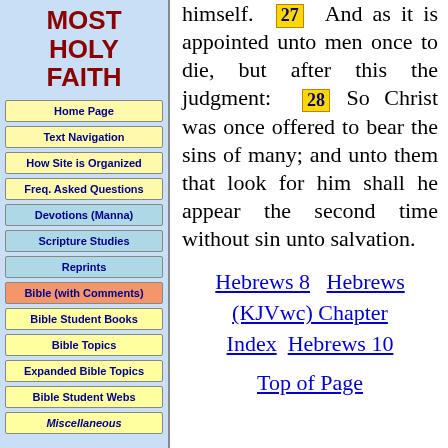MOST HOLY FAITH
Home Page
Text Navigation
How Site is Organized
Freq. Asked Questions
Devotions (Manna)
Scripture Studies
Reprints
Bible (with Comments)
Bible Student Books
Bible Topics
Expanded Bible Topics
Bible Student Webs
Miscellaneous
himself. 27 And as it is appointed unto men once to die, but after this the judgment: 28 So Christ was once offered to bear the sins of many; and unto them that look for him shall he appear the second time without sin unto salvation.
Hebrews 8   Hebrews (KJVwc) Chapter Index   Hebrews 10
Top of Page